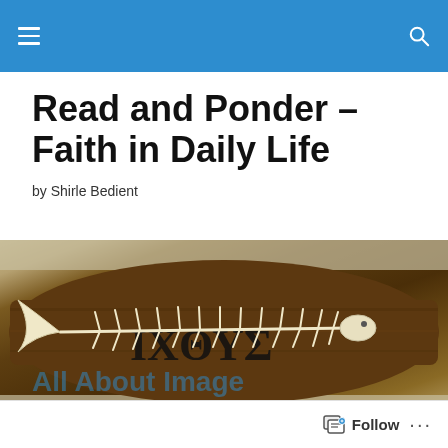Read and Ponder – Faith in Daily Life
by Shirle Bedient
[Figure (photo): A fish skeleton laid on top of a dark wooden plank with the Greek letters IXOYE (Ichthys) painted in black beneath it.]
TAGGED WITH SCRIPTURE
All About Image
Follow